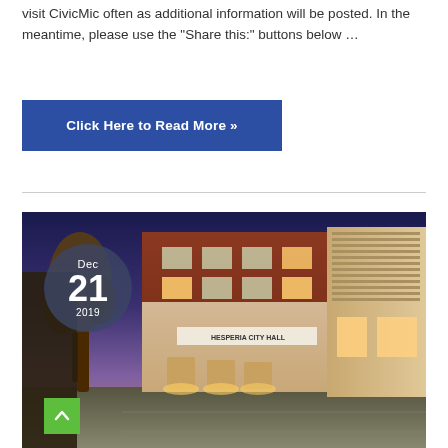visit CivicMic often as additional information will be posted. In the meantime, please use the "Share this:" buttons below …
Click Here to Read More »
[Figure (photo): Exterior night photo of Hesperia City Hall building with a Joshua tree on the left, warm lighting on stone pillars and facade, with a date badge overlay showing Dec 21 2019 and a green scroll-up button in the bottom-left corner.]